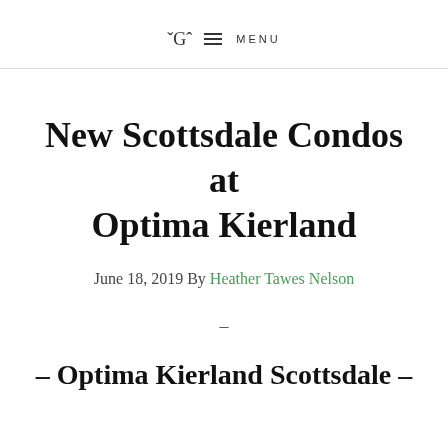☰ MENU
New Scottsdale Condos at Optima Kierland
June 18, 2019 By Heather Tawes Nelson
–
– Optima Kierland Scottsdale –